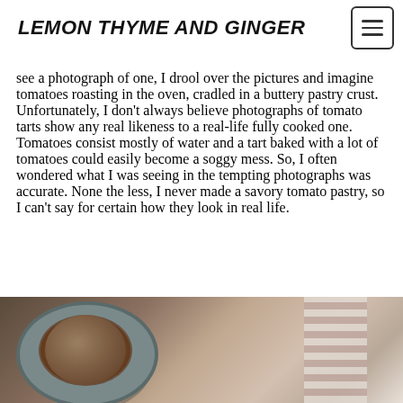LEMON THYME AND GINGER
see a photograph of one, I drool over the pictures and imagine tomatoes roasting in the oven, cradled in a buttery pastry crust. Unfortunately, I don't always believe photographs of tomato tarts show any real likeness to a real-life fully cooked one. Tomatoes consist mostly of water and a tart baked with a lot of tomatoes could easily become a soggy mess. So, I often wondered what I was seeing in the tempting photographs was accurate. None the less, I never made a savory tomato pastry, so I can't say for certain how they look in real life.
[Figure (photo): A tart pan with what appears to be crumbled dark filling (possibly spiced ground mixture) inside, alongside a white cloth/towel with red stripes, set on a gray surface]